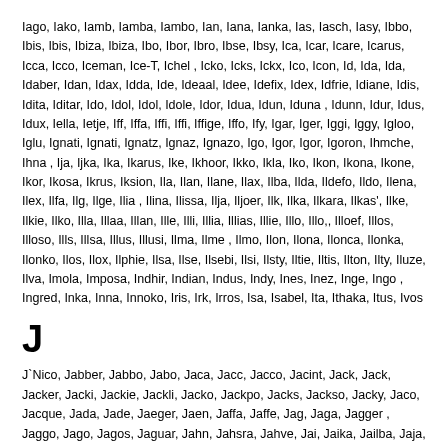Iago, Iako, Iamb, Iamba, Iambo, Ian, Iana, Ianka, Ias, Iasch, Iasy, Ibbo, Ibis, Ibis, Ibiza, Ibiza, Ibo, Ibor, Ibro, Ibse, Ibsy, Ica, Icar, Icare, Icarus, Icca, Icco, Iceman, Ice-T, Ichel , Icko, Icks, Ickx, Ico, Icon, Id, Ida, Ida, Idaber, Idan, Idax, Idda, Ide, Ideaal, Idee, Idefix, Idex, Idfrie, Idiane, Idis, Idita, Iditar, Ido, Idol, Idol, Idole, Idor, Idua, Idun, Iduna , Idunn, Idur, Idus, Idux, Iella, Ietje, Iff, Iffa, Iffi, Iffi, Iffige, Iffo, Ify, Igar, Iger, Iggi, Iggy, Igloo, Iglu, Ignati, Ignati, Ignatz, Ignaz, Ignazo, Igo, Igor, Igor, Igoron, Ihmche, Ihna , Ija, Ijka, Ika, Ikarus, Ike, Ikhoor, Ikko, Ikla, Iko, Ikon, Ikona, Ikone, Ikor, Ikosa, Ikrus, Iksion, Ila, Ilan, Ilane, Ilax, Ilba, Ilda, Ildefo, Ildo, Ilena, Ilex, Ilfa, Ilg, Ilge, Ilia , Ilina, Ilissa, Ilja, Iljoer, Ilk, Ilka, Ilkara, Ilkas', Ilke, Ilkie, Ilko, Illa, Illaa, Illan, Ille, Illi, Illia, Illias, Illie, Illo, Illo,, Illoef, Illos, Illoso, Ills, Illsa, Illus, Illusi, Ilma, Ilme , Ilmo, Ilon, Ilona, Ilonca, Ilonka, Ilonko, Ilos, Ilox, Ilphie, Ilsa, Ilse, Ilsebi, Ilsi, Ilsty, Iltie, Iltis, Ilton, Ilty, Iluze, Ilva, Imola, Imposa, Indhir, Indian, Indus, Indy, Ines, Inez, Inge, Ingo , Ingred, Inka, Inna, Innoko, Iris, Irk, Irros, Isa, Isabel, Ita, Ithaka, Itus, Ivos
J
J`Nico, Jabber, Jabbo, Jabo, Jaca, Jacc, Jacco, Jacint, Jack, Jack, Jacker, Jacki, Jackie, Jackli, Jacko, Jackpo, Jacks, Jackso, Jacky, Jaco, Jacque, Jada, Jade, Jaeger, Jaen, Jaffa, Jaffe, Jag, Jaga, Jagger , Jaggo, Jago, Jagos, Jaguar, Jahn, Jahsra, Jahve, Jai, Jaika, Jailba, Jaja, Jak, Jakart, Jako, Jakbar, Jakko, Jako, Jakob, Jakoby, Jalso, Jalatt, Jali, Jalk,